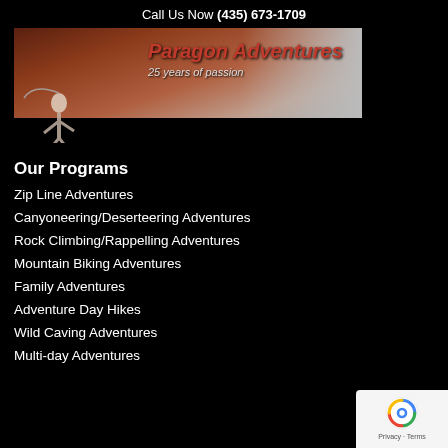Call Us Now (435) 673-1709
[Figure (logo): Paragon Adventures banner logo with climber figure, red italic text 'Paragon Adventures' and subtitle '25 years of passion']
Our Programs
Zip Line Adventures
Canyoneering/Deserteering Adventures
Rock Climbing/Rappelling Adventures
Mountain Biking Adventures
Family Adventures
Adventure Day Hikes
Wild Caving Adventures
Multi-day Adventures